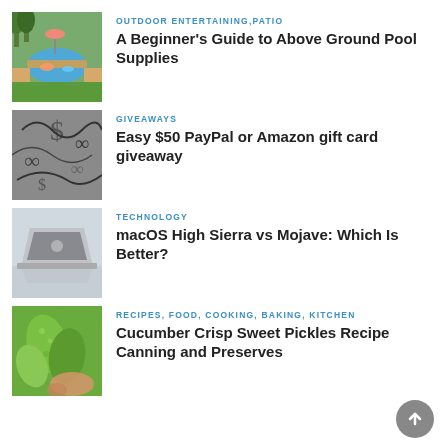[Figure (photo): Outdoor above-ground pool with deck and trees in background]
OUTDOOR ENTERTAINING,PATIO
A Beginner's Guide to Above Ground Pool Supplies
[Figure (photo): Close-up of decorative fabric or currency bills with swirl patterns]
GIVEAWAYS
Easy $50 PayPal or Amazon gift card giveaway
[Figure (photo): MacBook laptop partially open on reflective surface]
TECHNOLOGY
macOS High Sierra vs Mojave: Which Is Better?
[Figure (photo): Close-up of fresh cucumbers being held by hand]
RECIPES, FOOD, COOKING, BAKING, KITCHEN
Cucumber Crisp Sweet Pickles Recipe Canning and Preserves